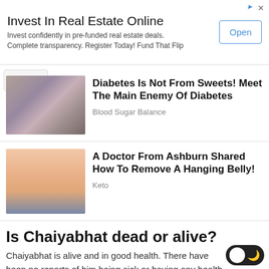[Figure (infographic): Advertisement banner: Invest In Real Estate Online. Text: 'Invest confidently in pre-funded real estate deals. Complete transparency. Register Today! Fund That Flip'. Blue 'Open' button on right.]
[Figure (infographic): Sponsored content card 1: Image of organic shapes (kidneys/vegetables) in a dark bowl. Title: 'Diabetes Is Not From Sweets! Meet The Main Enemy Of Diabetes'. Source: Blood Sugar Balance]
[Figure (infographic): Sponsored content card 2: Illustration of overweight belly/torso. Title: 'A Doctor From Ashburn Shared How To Remove A Hanging Belly!'. Source: Keto]
Is Chaiyabhat dead or alive?
Chaiyabhat is alive and in good health. There have been no reports of him being sick or having any health-related